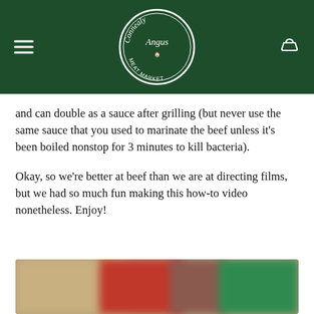[Figure (logo): Connealy Angus Meat Market circular logo in white on dark green background, with hamburger menu icon on the left and basket icon on the right]
and can double as a sauce after grilling (but never use the same sauce that you used to marinate the beef unless it's been boiled nonstop for 3 minutes to kill bacteria).
Okay, so we're better at beef than we are at directing films, but we had so much fun making this how-to video nonetheless. Enjoy!
[Figure (photo): Blurred video thumbnail showing colorful food items]